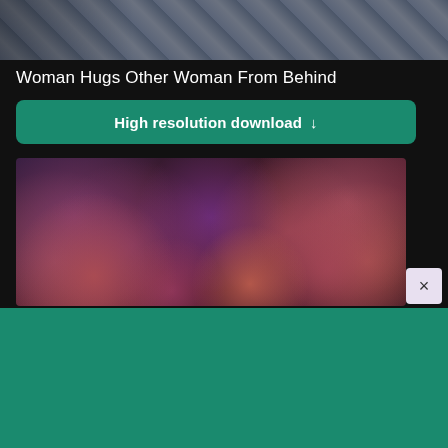[Figure (photo): Cropped photo strip at top showing partial images of people and outdoor scene on dark background]
Woman Hugs Other Woman From Behind
High resolution download ↓
[Figure (photo): Bokeh blur photograph with dark purple and red/pink out-of-focus light circles]
×
[Figure (logo): Shopify logo: shopping bag icon with 'shopify' text in white on green background]
Need an online store for your business?
Start free trial